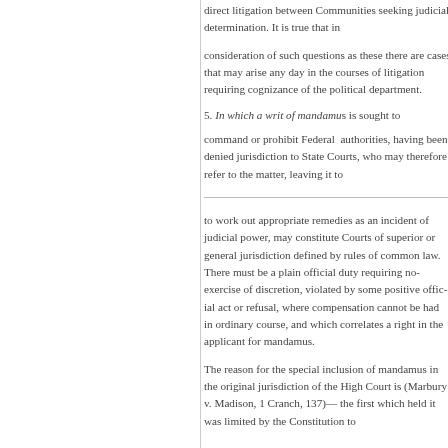direct litigation between Com determination. It is true that in
consideration of such questio may arise any day in the cour cognizance of the political dep
5. In which a writ of mandamu
command or prohibit Federal denied jurisdiction to State Co refer to the matter, leaving it t
to work out appropriate reme power, may constitute Courts defined by rules of common la plain official duty requiring no violated by some positive offic compensation cannot be had correlates a right in the applic
The reason for the special inc original jurisdiction of the High Cranch, 137)— the first which limited by the Constitution to